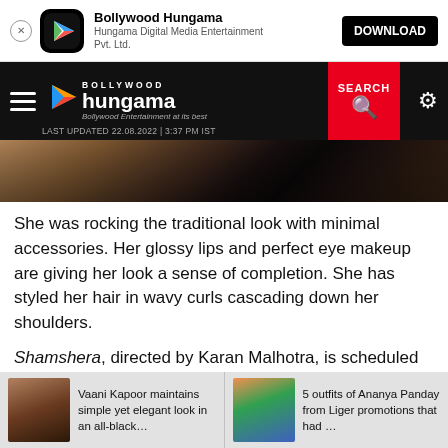Bollywood Hungama — App download banner: Hungama Digital Media Entertainment Pvt. Ltd. DOWNLOAD
[Figure (screenshot): Bollywood Hungama website navigation bar with hamburger menu, logo, search button (red), settings gear icon, and timestamp: LAST UPDATED 22.08.2022 | 3:37 PM IST]
[Figure (photo): Partial photo of a woman in traditional attire, cropped hero image strip]
She was rocking the traditional look with minimal accessories. Her glossy lips and perfect eye makeup are giving her look a sense of completion. She has styled her hair in wavy curls cascading down her shoulders.
Shamshera, directed by Karan Malhotra, is scheduled for release on July 22, 2022, in Hindi, Tamil, and Telugu. The story of Shamshera (Ranbir Kapoor), a man who was sold into slavery, a slave who rose to leadership, and ultimately a
Vaani Kapoor maintains simple yet elegant look in an all-black…
5 outfits of Ananya Panday from Liger promotions that had …